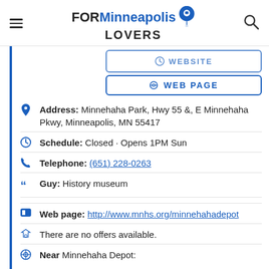FORMinneapolis LOVERS
WEB PAGE
Address: Minnehaha Park, Hwy 55 &, E Minnehaha Pkwy, Minneapolis, MN 55417
Schedule: Closed · Opens 1PM Sun
Telephone: (651) 228-0263
Guy: History museum
Web page: http://www.mnhs.org/minnehahadepot
There are no offers available.
Near Minnehaha Depot:
a 70 meters away garden at: Minnehaha Falls Pergola Garden